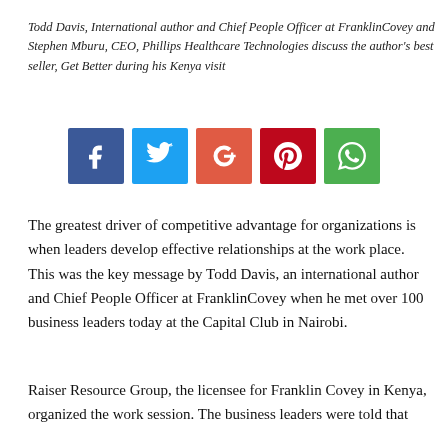Todd Davis, International author and Chief People Officer at FranklinCovey and Stephen Mburu, CEO, Phillips Healthcare Technologies discuss the author's best seller, Get Better during his Kenya visit
[Figure (infographic): Row of five social media sharing buttons: Facebook (dark blue, f icon), Twitter (light blue, bird icon), Google+ (red-orange, G+ icon), Pinterest (dark red, P icon), WhatsApp (green, phone icon)]
The greatest driver of competitive advantage for organizations is when leaders develop effective relationships at the work place. This was the key message by Todd Davis, an international author and Chief People Officer at FranklinCovey when he met over 100 business leaders today at the Capital Club in Nairobi.
Raiser Resource Group, the licensee for Franklin Covey in Kenya, organized the work session. The business leaders were told that